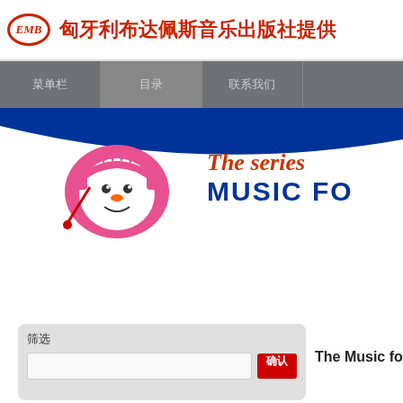EMB 匈牙利布达佩斯音乐出版社提供
菜单栏 | 目录 | 联系我们
[Figure (illustration): Cartoon snowman mascot with pink hair holding a conductor's baton, with text 'The series MUSIC FOR' in red and blue]
The Music for Beg
筛选